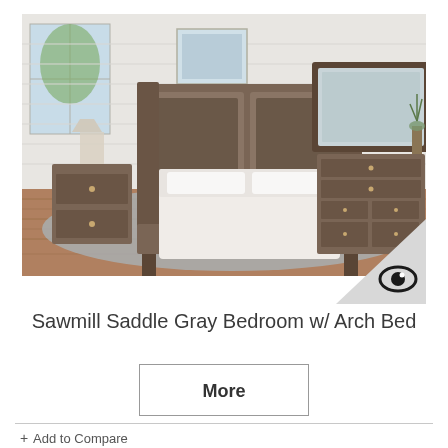[Figure (photo): Bedroom furniture set in saddle gray finish featuring an arch bed, nightstand, dresser with mirror on hardwood floor with blue rug in a bright white room]
Sawmill Saddle Gray Bedroom w/ Arch Bed
More
+ Add to Compare